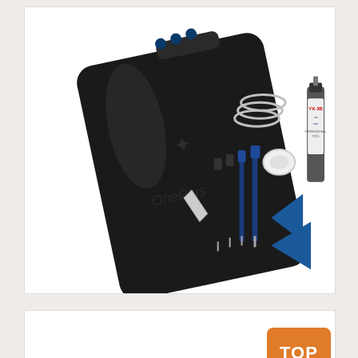[Figure (photo): Product photo showing a black smartphone back cover/battery door for a multi-camera phone, displayed alongside a repair toolkit including screwdrivers, pry tools, suction cup, metal ring clamps, SIM ejector pin, blue triangle pry tool, and a tube of adhesive glue (YX-3B brand). White background.]
[Figure (photo): Product listing thumbnail showing multiple color variants of a smartphone back cover replacement part (silver/blue and black versions) along with small accessories. Has an orange 'TOP' badge in top-right corner.]